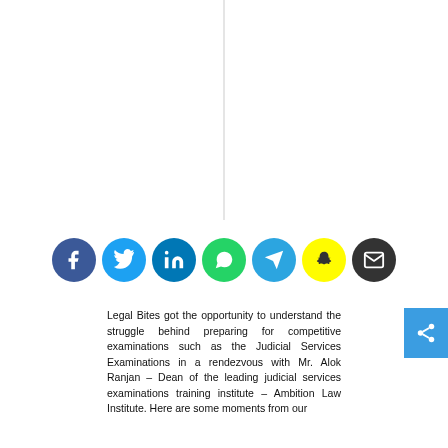[Figure (illustration): Vertical gray dividing line in the upper half of the page]
[Figure (infographic): Row of seven social media share icons: Facebook (blue), Twitter (light blue), LinkedIn (dark blue), WhatsApp (green), Telegram (blue), Snapchat (yellow), Email (dark brown/black)]
Legal Bites got the opportunity to understand the struggle behind preparing for competitive examinations such as the Judicial Services Examinations in a rendezvous with Mr. Alok Ranjan – Dean of the leading judicial services examinations training institute – Ambition Law Institute. Here are some moments from our